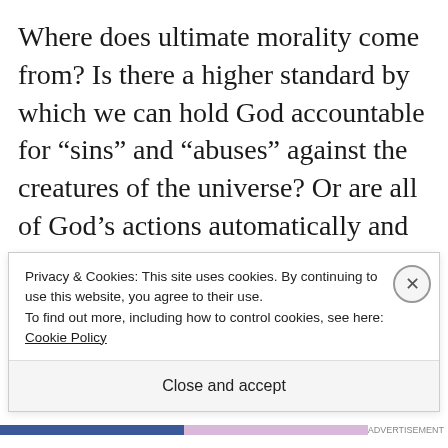Where does ultimate morality come from? Is there a higher standard by which we can hold God accountable for “sins” and “abuses” against the creatures of the universe? Or are all of God’s actions automatically and perfectly wise, fair and best?
My view is that true, deep morality is
Privacy & Cookies: This site uses cookies. By continuing to use this website, you agree to their use.
To find out more, including how to control cookies, see here: Cookie Policy
Close and accept